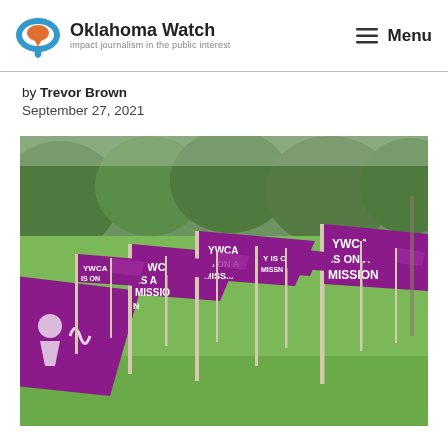Oklahoma Watch — impact journalism in the public interest | Menu
by Trevor Brown
September 27, 2021
[Figure (photo): Multiple purple YWCA flags reading 'YWCA IS ON A MISSION' planted on a green lawn outdoors.]